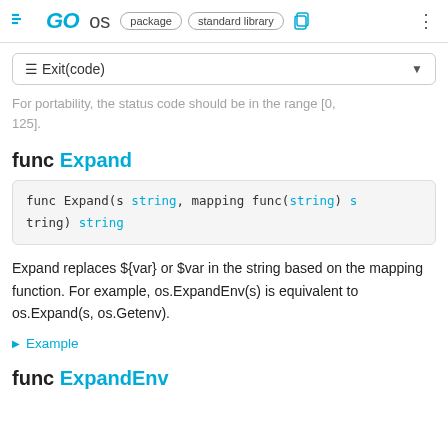GO os  package  standard library
☰ Exit(code)
For portability, the status code should be in the range [0, 125].
func Expand
func Expand(s string, mapping func(string) string) string
Expand replaces ${var} or $var in the string based on the mapping function. For example, os.ExpandEnv(s) is equivalent to os.Expand(s, os.Getenv).
▶ Example
func ExpandEnv